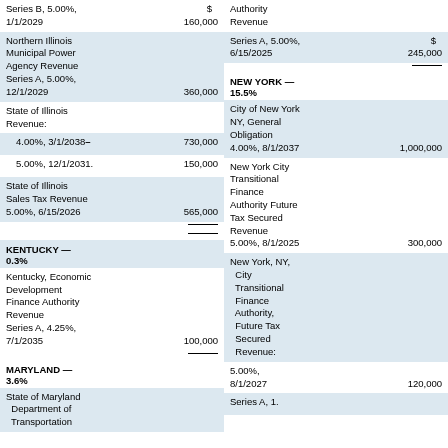| Security | Value |
| --- | --- |
| Series B, 5.00%, 1/1/2029 | $ 160,000 |
| Northern Illinois Municipal Power Agency Revenue Series A, 5.00%, 12/1/2029 | 360,000 |
| State of Illinois Revenue: |  |
| 4.00%, 3/1/2038 | 730,000 |
| 5.00%, 12/1/2031. | 150,000 |
| State of Illinois Sales Tax Revenue 5.00%, 6/15/2026 | 565,000 |
| KENTUCKY — 0.3% |  |
| Kentucky, Economic Development Finance Authority Revenue Series A, 4.25%, 7/1/2035 | 100,000 |
| MARYLAND — 3.6% |  |
| State of Maryland Department of Transportation |  |
| Authority Revenue Series A, 5.00%, 6/15/2025 | $ 245,000 |
| NEW YORK — 15.5% |  |
| City of New York NY, General Obligation 4.00%, 8/1/2037 | 1,000,000 |
| New York City Transitional Finance Authority Future Tax Secured Revenue 5.00%, 8/1/2025 | 300,000 |
| New York, NY, City Transitional Finance Authority, Future Tax Secured Revenue: |  |
| 5.00%, 8/1/2027 | 120,000 |
| Series A, 1... |  |